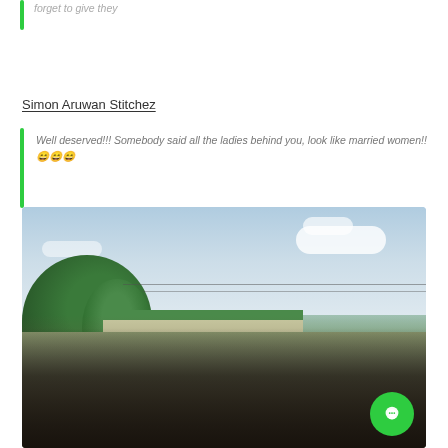forget to give they
Simon Aruwan Stitchez
Well deserved!!! Somebody said all the ladies behind you, look like married women!!😄😄😄
[Figure (photo): Group of people in military/uniform khaki clothing outdoors, with trees, a building with green roof, power lines and a partly cloudy sky in the background. A green chat bubble icon is visible in the lower right corner.]